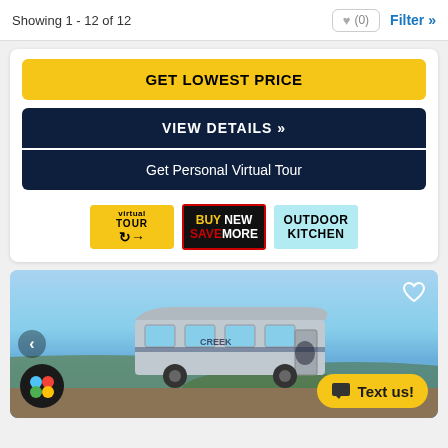Showing 1 - 12 of 12
GET LOWEST PRICE
VIEW DETAILS »
Get Personal Virtual Tour
[Figure (infographic): Three badges: Virtual Tour (yellow), Buy New Save More (black/red border), Outdoor Kitchen (light blue)]
[Figure (photo): RV/travel trailer photo with navigation arrow, heart icon, colorful app icon, and Text us! button]